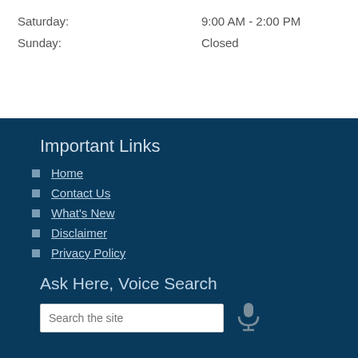Saturday: 9:00 AM - 2:00 PM
Sunday: Closed
Important Links
Home
Contact Us
What's New
Disclaimer
Privacy Policy
Ask Here, Voice Search
Search the site